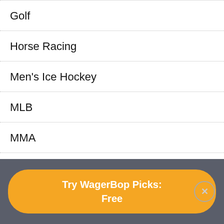Golf
Horse Racing
Men's Ice Hockey
MLB
MMA
NBA
NCAAB
NCAAF
NFL
Try WagerBop Picks: Free